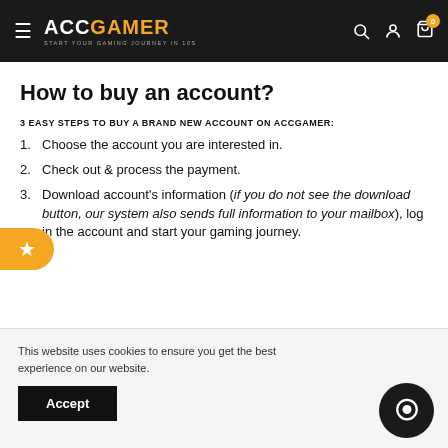ACCGAMER — Start your gaming journey in 10s
How to buy an account?
3 EASY STEPS TO BUY A BRAND NEW ACCOUNT ON ACCGAMER:
1. Choose the account you are interested in.
2. Check out & process the payment.
3. Download account's information (if you do not see the download button, our system also sends full information to your mailbox), log in the account and start your gaming journey.
This website uses cookies to ensure you get the best experience on our website.